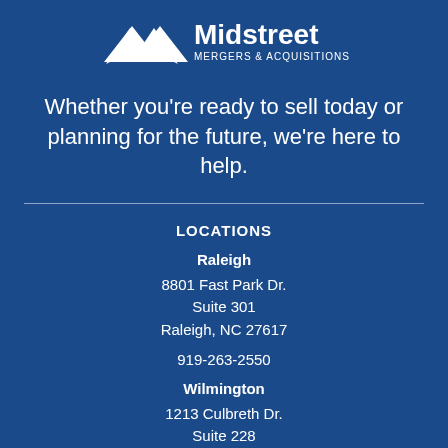[Figure (logo): Midstreet Mergers & Acquisitions logo with white mountain/arrow icon and text 'Midstreet MERGERS & ACQUISITIONS']
Whether you’re ready to sell today or planning for the future, we’re here to help.
LOCATIONS
Raleigh
8801 Fast Park Dr.
Suite 301
Raleigh, NC 27617
919-263-2550
Wilmington
1213 Culbreth Dr.
Suite 228